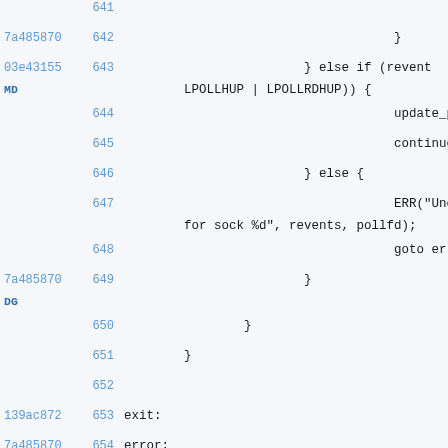Source code view with git blame annotations, lines 641-655
641                                                                      b
7a485870 642                                          }
03e43155 643                              } else if (revent
MD           LPOLLHUP | LPOLLRDHUP)) {
644                                      update_po
645                                      continue;
646                              } else {
647                                      ERR("Unex
for sock %d", revents, pollfd);
648                                      goto erro
7a485870 649                              }
DG
650                      }
651              }
652
139ac872 653  exit:
7a485870 654  error:
5eb01e99 655          lttng_poll_clear(&events);